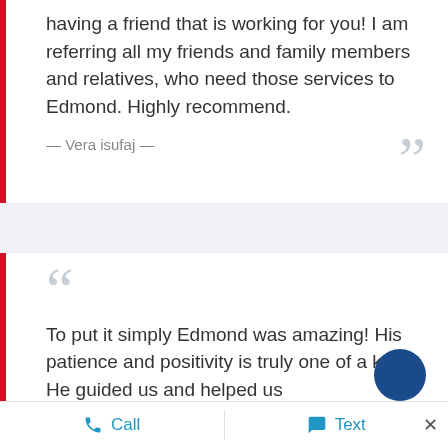having a friend that is working for you! I am referring all my friends and family members and relatives, who need those services to Edmond. Highly recommend.
— Vera isufaj —
To put it simply Edmond was amazing! His patience and positivity is truly one of a kind. He guided us and helped us
Call
Text